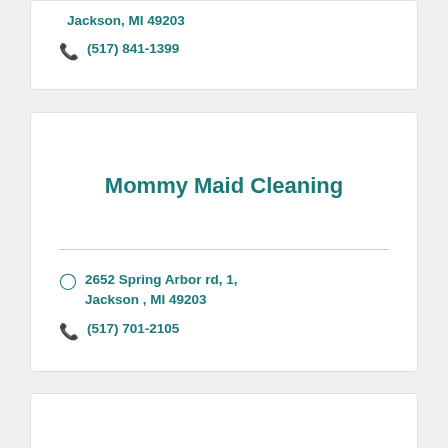Jackson, MI 49203
(517) 841-1399
Mommy Maid Cleaning
2652 Spring Arbor rd, 1, Jackson , MI 49203
(517) 701-2105